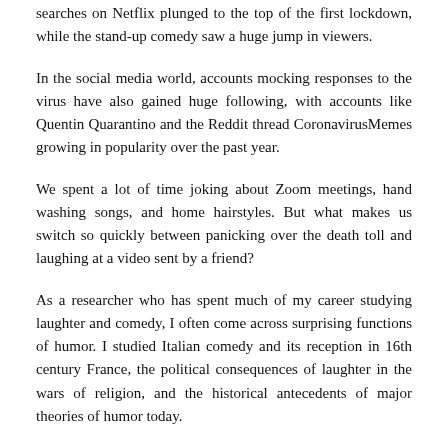searches on Netflix plunged to the top of the first lockdown, while the stand-up comedy saw a huge jump in viewers.
In the social media world, accounts mocking responses to the virus have also gained huge following, with accounts like Quentin Quarantino and the Reddit thread CoronavirusMemes growing in popularity over the past year.
We spent a lot of time joking about Zoom meetings, hand washing songs, and home hairstyles. But what makes us switch so quickly between panicking over the death toll and laughing at a video sent by a friend?
As a researcher who has spent much of my career studying laughter and comedy, I often come across surprising functions of humor. I studied Italian comedy and its reception in 16th century France, the political consequences of laughter in the wars of religion, and the historical antecedents of major theories of humor today.
Much of my research has revealed some fascinating things about how humor attracts us in difficult times. But the pandemic has really amplified the roles comedy can play and brought out our addiction to humor.